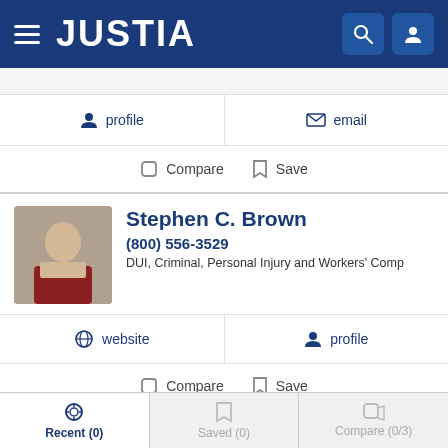JUSTIA
profile   email
Compare   Save
Stephen C. Brown
(800) 556-3529
DUI, Criminal, Personal Injury and Workers' Comp
website   profile
Compare   Save
Richard E. Clark Esq.
Recent (0)   Saved (0)   Compare (0/3)